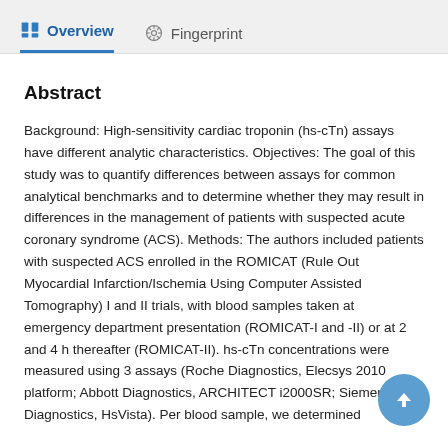Overview   Fingerprint
Abstract
Background: High-sensitivity cardiac troponin (hs-cTn) assays have different analytic characteristics. Objectives: The goal of this study was to quantify differences between assays for common analytical benchmarks and to determine whether they may result in differences in the management of patients with suspected acute coronary syndrome (ACS). Methods: The authors included patients with suspected ACS enrolled in the ROMICAT (Rule Out Myocardial Infarction/Ischemia Using Computer Assisted Tomography) I and II trials, with blood samples taken at emergency department presentation (ROMICAT-I and -II) or at 2 and 4 h thereafter (ROMICAT-II). hs-cTn concentrations were measured using 3 assays (Roche Diagnostics, Elecsys 2010 platform; Abbott Diagnostics, ARCHITECT i2000SR; Siemens Diagnostics, HsVista). Per blood sample, we determined